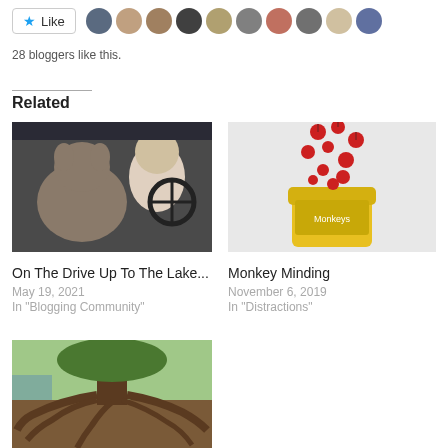[Figure (other): Like button with star icon and row of blogger avatar photos]
28 bloggers like this.
Related
[Figure (photo): Elderly woman driving a car with a dog in the passenger seat]
On The Drive Up To The Lake...
May 19, 2021
In "Blogging Community"
[Figure (photo): Monkey Minding - candy or small red items falling into a yellow Monkeys barrel container]
Monkey Minding
November 6, 2019
In "Distractions"
[Figure (photo): Large tree with exposed sprawling roots in a park setting]